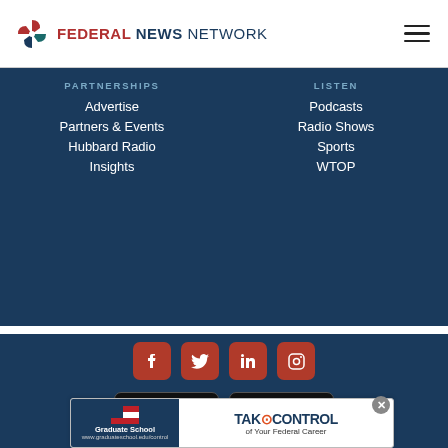[Figure (logo): Federal News Network logo with stylized pinwheel icon in red/teal/navy and text 'FEDERAL NEWS NETWORK']
Federal News Network
PARTNERSHIPS
Advertise
Partners & Events
Hubbard Radio
Insights
LISTEN
Podcasts
Radio Shows
Sports
WTOP
[Figure (infographic): Social media icons row: Facebook, Twitter, LinkedIn, Instagram — all in dark red rounded square buttons]
[Figure (infographic): App store download buttons: 'Download on the App Store' and 'GET IT ON Google Play']
Terms of Use / Copyright/Usage Policy / DMCA Notice / Privacy Policy / Comment Policy / EEO Report / FCC Online Public Inspection File / FCC Applications
Need help accessing the FCC Public File due to a disability? Please contact Susan Budwarkat...
Copyright 2... ...intended for
[Figure (infographic): Advertisement banner: Graduate School USA / TakeControl of Your Federal Career, www.graduateschool.edu/control]